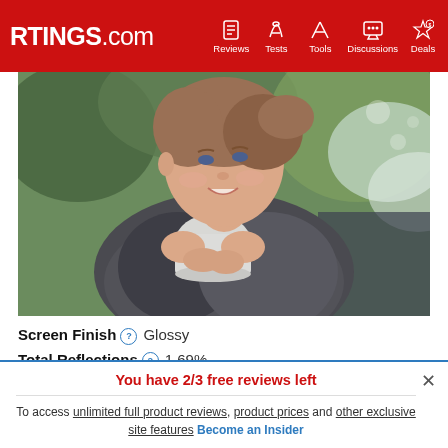RTINGS.com | Reviews | Tests | Tools | Discussions | Deals
[Figure (photo): Woman smiling and holding a white mug outdoors with blurred green background]
Screen Finish  Glossy
Total Reflections  1.69%
Indirect Reflections  0.17%
You have 2/3 free reviews left
To access unlimited full product reviews, product prices and other exclusive site features Become an Insider